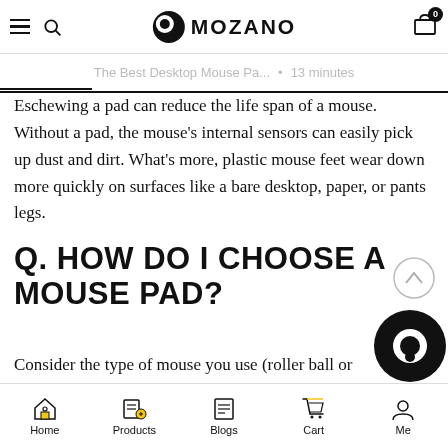MOZANO — navigation header with hamburger, search, logo, and cart (0 items)
The Best Desktop Mouse Pa... • 13 minutes
Eschewing a pad can reduce the life span of a mouse. Without a pad, the mouse's internal sensors can easily pick up dust and dirt. What's more, plastic mouse feet wear down more quickly on surfaces like a bare desktop, paper, or pants legs.
Q. HOW DO I CHOOSE A MOUSE PAD?
Consider the type of mouse you use (roller ball or optical/infrared). Use a soft mouse pad with a roller ball. A hard mouse pad allows an optical mouse to function
Home | Products | Blogs | Cart | Me